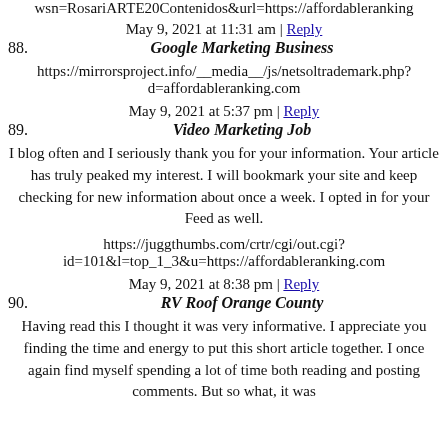wsn=RosariARTE20Contenidos&url=https://affordableranking
May 9, 2021 at 11:31 am | Reply
88. Google Marketing Business
https://mirrorsproject.info/__media__/js/netsoltrademark.php?d=affordableranking.com
May 9, 2021 at 5:37 pm | Reply
89. Video Marketing Job
I blog often and I seriously thank you for your information. Your article has truly peaked my interest. I will bookmark your site and keep checking for new information about once a week. I opted in for your Feed as well.
https://juggthumbs.com/crtr/cgi/out.cgi?id=101&l=top_1_3&u=https://affordableranking.com
May 9, 2021 at 8:38 pm | Reply
90. RV Roof Orange County
Having read this I thought it was very informative. I appreciate you finding the time and energy to put this short article together. I once again find myself spending a lot of time both reading and posting comments. But so what, it was